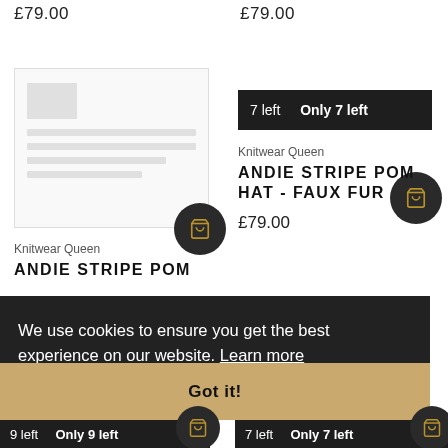£79.00
£79.00
[Figure (screenshot): Product image placeholder with grey blocks representing image and text lines]
7 left   Only 7 left
Knitwear Queen
ANDIE STRIPE POM HAT - FAUX FUR
£79.00
Knitwear Queen
ANDIE STRIPE POM
We use cookies to ensure you get the best experience on our website. Learn more
Got it!
9 left   Only 9 left
7 left   Only 7 left